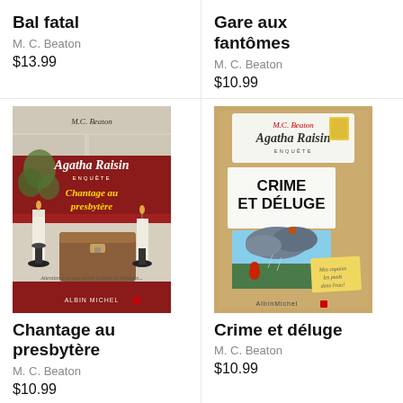Bal fatal
M. C. Beaton
$13.99
Gare aux fantômes
M. C. Beaton
$10.99
[Figure (illustration): Book cover: Agatha Raisin Enquête - Chantage au presbytère by M.C. Beaton, Albin Michel. Shows candles, a wooden chest, ivy, and a red banner with the title.]
[Figure (illustration): Book cover: Agatha Raisin Enquête - Crime et déluge by M.C. Beaton, Albin Michel. Shows a pinboard with a postcard of a stormy scene and a yellow sticky note.]
Chantage au presbytère
M. C. Beaton
$10.99
Crime et déluge
M. C. Beaton
$10.99